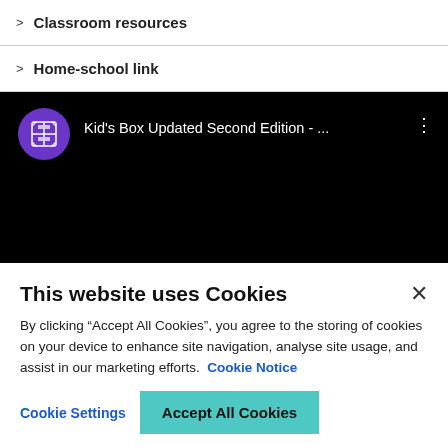Classroom resources
Home-school link
[Figure (screenshot): YouTube-style video player with black background showing Cambridge University Press channel header. Purple circle logo with shield/cross emblem, title text 'Kid's Box Updated Second Edition - ...' in white, three-dot menu icon on right.]
This website uses Cookies
By clicking “Accept All Cookies”, you agree to the storing of cookies on your device to enhance site navigation, analyse site usage, and assist in our marketing efforts.  Cookie Notice
Cookie Settings
Accept All Cookies